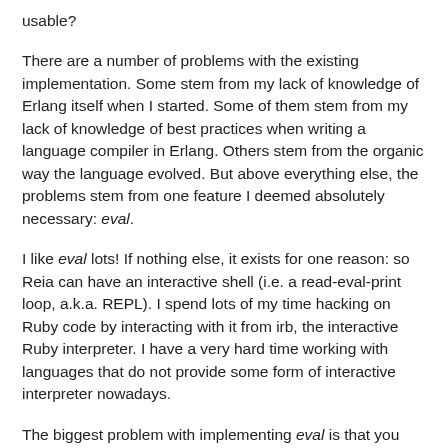usable?
There are a number of problems with the existing implementation. Some stem from my lack of knowledge of Erlang itself when I started. Some of them stem from my lack of knowledge of best practices when writing a language compiler in Erlang. Others stem from the organic way the language evolved. But above everything else, the problems stem from one feature I deemed absolutely necessary: eval.
I like eval lots! If nothing else, it exists for one reason: so Reia can have an interactive shell (i.e. a read-eval-print loop, a.k.a. REPL). I spend lots of my time hacking on Ruby code by interacting with it from irb, the interactive Ruby interpreter. I have a very hard time working with languages that do not provide some form of interactive interpreter nowadays.
The biggest problem with implementing eval is that you have to write your own implementation for your language. In the previous version of Reia I tried to sidestep that by using erl_eval, the Erlang metacircular interpreter, as my eval implementation. Unfortunately, to facilitate this, I ended up